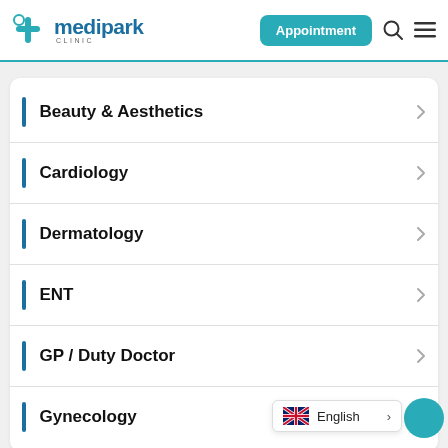[Figure (logo): Medipark Clinic logo with teal cross icon and blue text]
Beauty & Aesthetics
Cardiology
Dermatology
ENT
GP / Duty Doctor
Gynecology
English